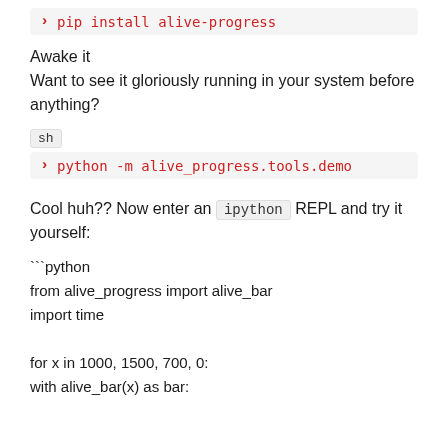> pip install alive-progress
Awake it
Want to see it gloriously running in your system before anything?
sh
> python -m alive_progress.tools.demo
Cool huh?? Now enter an ipython REPL and try it yourself:
```python
from alive_progress import alive_bar
import time

for x in 1000, 1500, 700, 0:
    with alive_bar(x) as bar: